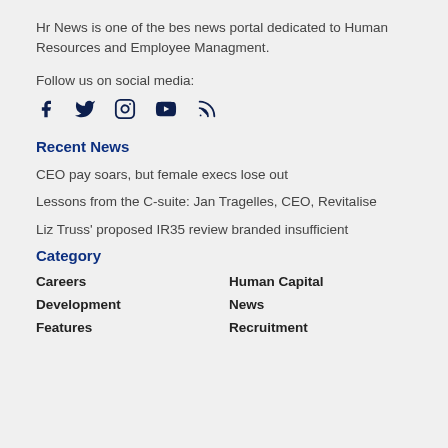Hr News is one of the bes news portal dedicated to Human Resources and Employee Managment.
Follow us on social media:
[Figure (other): Social media icons: Facebook, Twitter, Instagram, YouTube, RSS]
Recent News
CEO pay soars, but female execs lose out
Lessons from the C-suite: Jan Tragelles, CEO, Revitalise
Liz Truss' proposed IR35 review branded insufficient
Category
Careers
Human Capital
Development
News
Features
Recruitment